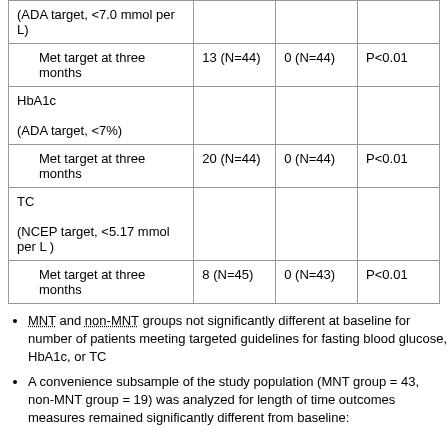|  |  |  |  |
| --- | --- | --- | --- |
| (ADA target, <7.0 mmol per L) |  |  |  |
|     Met target at three months | 13 (N=44) | 0 (N=44) | P<0.01 |
| HbA1c

(ADA target, <7%) |  |  |  |
|     Met target at three months | 20 (N=44) | 0 (N=44) | P<0.01 |
| TC

(NCEP target, <5.17 mmol per L) |  |  |  |
|     Met target at three months | 8 (N=45) | 0 (N=43) | P<0.01 |
MNT and non-MNT groups not significantly different at baseline for number of patients meeting targeted guidelines for fasting blood glucose, HbA1c, or TC
A convenience subsample of the study population (MNT group = 43, non-MNT group = 19) was analyzed for length of time outcomes measures remained significantly different from baseline: